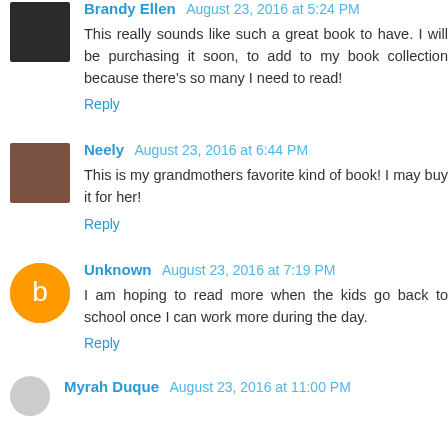Brandy Ellen August 23, 2016 at 5:24 PM
This really sounds like such a great book to have. I will be purchasing it soon, to add to my book collection because there's so many I need to read!
Reply
Neely August 23, 2016 at 6:44 PM
This is my grandmothers favorite kind of book! I may buy it for her!
Reply
Unknown August 23, 2016 at 7:19 PM
I am hoping to read more when the kids go back to school once I can work more during the day.
Reply
Myrah Duque August 23, 2016 at 11:00 PM